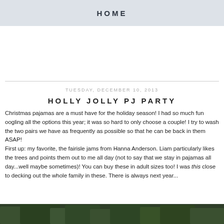HOME
TUESDAY, DECEMBER 10, 2013
HOLLY JOLLY PJ PARTY
Christmas pajamas are a must have for the holiday season!  I had so much fun oogling all the options this year; it was so hard to only choose a couple!  I try to wash the two pairs we have as frequently as possible so that he can be back in them ASAP!
First up: my favorite, the fairisle jams from Hanna Anderson.  Liam particularly likes the trees and points them out to me all day (not to say that we stay in pajamas all day...well maybe sometimes)!  You can buy these in adult sizes too!  I was this close to decking out the whole family in these.  There is always next year...
[Figure (photo): Bottom strip showing a dark green plant/foliage photo]